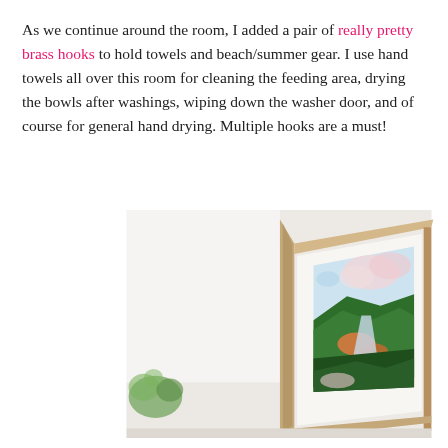As we continue around the room, I added a pair of really pretty brass hooks to hold towels and beach/summer gear. I use hand towels all over this room for cleaning the feeding area, drying the bowls after washings, wiping down the washer door, and of course for general hand drying. Multiple hooks are a must!
[Figure (photo): A bright, airy interior photo showing a wooden picture frame leaning against a white wall, with colorful landscape artwork inside. A blurred green plant is visible at the lower left edge.]